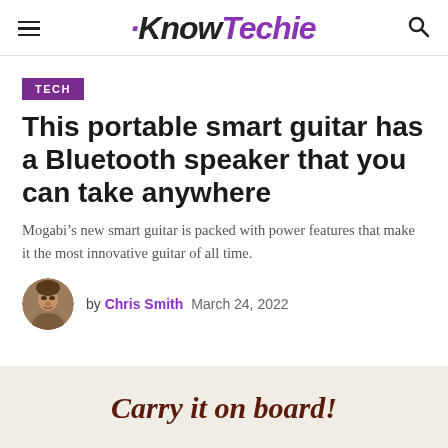KnowTechie
TECH
This portable smart guitar has a Bluetooth speaker that you can take anywhere
Mogabi's new smart guitar is packed with power features that make it the most innovative guitar of all time.
by Chris Smith  March 24, 2022
[Figure (illustration): Promotional banner with text 'Carry it on board!' in bold italic dark red serif font on a light beige background]
Carry it on board!